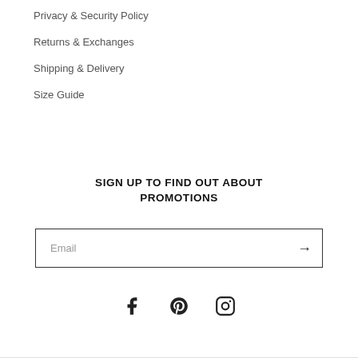Privacy & Security Policy
Returns & Exchanges
Shipping & Delivery
Size Guide
SIGN UP TO FIND OUT ABOUT PROMOTIONS
Email
[Figure (other): Social media icons: Facebook, Pinterest, Instagram]